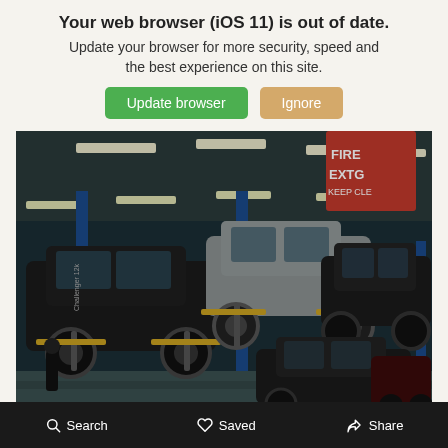Your web browser (iOS 11) is out of date.
Update your browser for more security, speed and the best experience on this site.
Update browser | Ignore
[Figure (photo): Interior of an automotive service center/garage with multiple cars on hydraulic lifts. Several SUVs and sedans are elevated on blue two-post lifts. A fire extinguisher sign reading FIRE EXTG KEEP CLE... is visible in the upper right. The floor is concrete with a bluish tint. Bright fluorescent lighting overhead.]
Search   Saved   Share